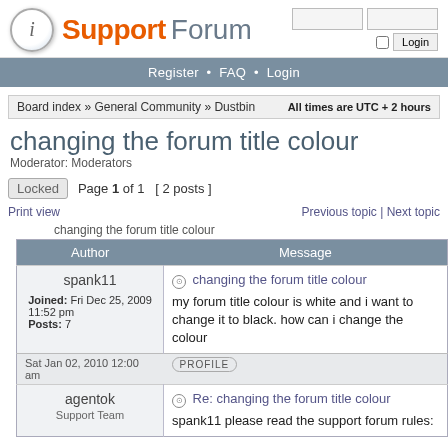Support Forum
Register • FAQ • Login
Board index » General Community » Dustbin   All times are UTC + 2 hours
changing the forum title colour
Moderator: Moderators
Locked  Page 1 of 1  [ 2 posts ]
Print view   Previous topic | Next topic
changing the forum title colour
| Author | Message |
| --- | --- |
| spank11
Joined: Fri Dec 25, 2009 11:52 pm
Posts: 7 | ⊙ changing the forum title colour
my forum title colour is white and i want to change it to black. how can i change the colour |
| Sat Jan 02, 2010 12:00 am | PROFILE |
| agentok
Support Team | ⊙ Re: changing the forum title colour
spank11 please read the support forum rules: |